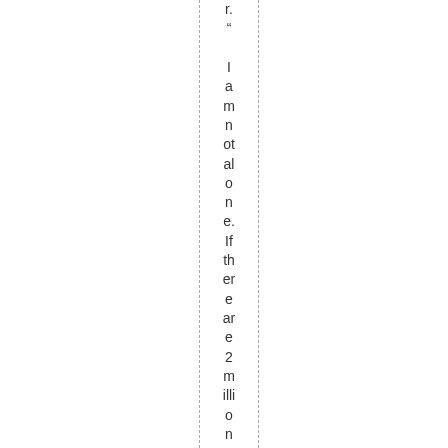r.
"

I am not alone. If there are 2 million USA ad